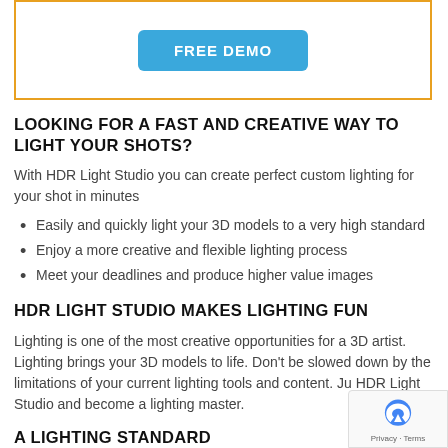[Figure (other): Button labeled FREE DEMO inside an orange-bordered box]
LOOKING FOR A FAST AND CREATIVE WAY TO LIGHT YOUR SHOTS?
With HDR Light Studio you can create perfect custom lighting for your shot in minutes
Easily and quickly light your 3D models to a very high standard
Enjoy a more creative and flexible lighting process
Meet your deadlines and produce higher value images
HDR LIGHT STUDIO MAKES LIGHTING FUN
Lighting is one of the most creative opportunities for a 3D artist. Lighting brings your 3D models to life. Don't be slowed down by the limitations of your current lighting tools and content. Ju HDR Light Studio and become a lighting master.
A LIGHTING STANDARD